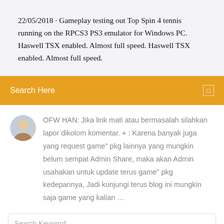22/05/2018 · Gameplay testing out Top Spin 4 tennis running on the RPCS3 PS3 emulator for Windows PC. Haswell TSX enabled. Almost full speed. Haswell TSX enabled. Almost full speed.
Search Here
OFW HAN: Jika link mati atau bermasalah silahkan lapor dikolom komentar. + : Karena banyak juga yang request game" pkg lainnya yang mungkin belum sempat Admin Share, maka akan Admin usahakan untuk update terus game" pkg kedepannya, Jadi kunjungi terus blog ini mungkin saja game yang kalian …
Search Keyword